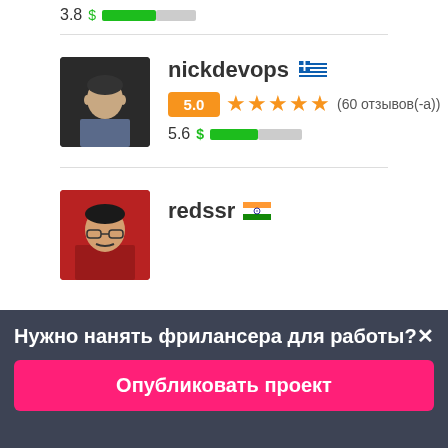3.8 [progress bar]
nickdevops 🇬🇷
5.0 ★★★★★ (60 отзывов(-а))
5.6 $ [progress bar]
redssr 🇮🇳
Нужно нанять фрилансера для работы?✕
Опубликовать проект